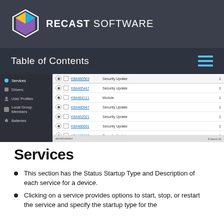RECAST SOFTWARE
Table of Contents
[Figure (screenshot): Screenshot of Recast Software application showing a list of Windows updates including KB entries such as KB4485447, KB4484111, KB4480947, KB4462021, KB4480651, KB4480133, KB4481187 with types Security Update and Module, and a left navigation panel with items: Services, Drivers, User Profiles, Local Group Members, Batteries]
Services
This section has the Status Startup Type and Description of each service for a device.
Clicking on a service provides options to start, stop, or restart the service and specify the startup type for the